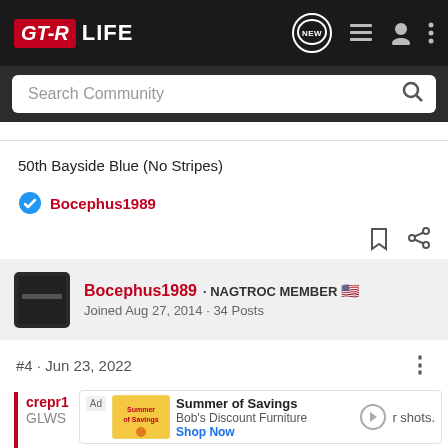GT-R LIFE
Search Community
50th Bayside Blue (No Stripes)
Bocephus1989
Bocephus1989 · NAGTROC MEMBER 🇺🇸
Joined Aug 27, 2014 · 34 Posts
#4 · Jun 23, 2022
crepr1
GLWS
Ad – Summer of Savings
Bob's Discount Furniture
Shop Now